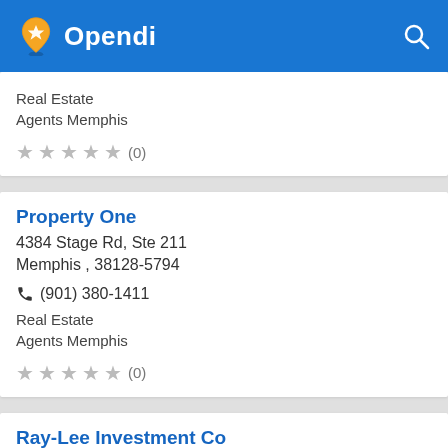Opendi
Real Estate
Agents Memphis
★★★★★ (0)
Property One
4384 Stage Rd, Ste 211
Memphis , 38128-5794
☎ (901) 380-1411
Real Estate
Agents Memphis
★★★★★ (0)
Ray-Lee Investment Co
3048 Park Ave
Memphis , 38111-3018
☎ (901) 454-1106